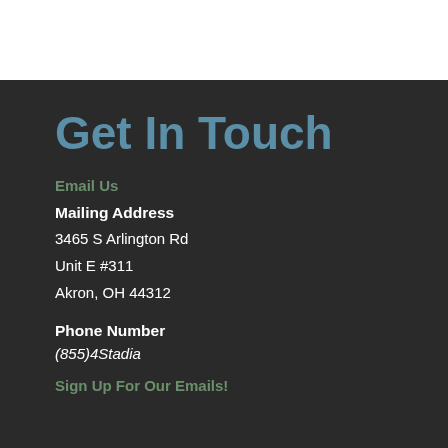Get In Touch
Email Us
Mailing Address
3465 S Arlington Rd
Unit E #311
Akron, OH 44312
Phone Number
(855)4Stadia
Sign Up For Our Emails!